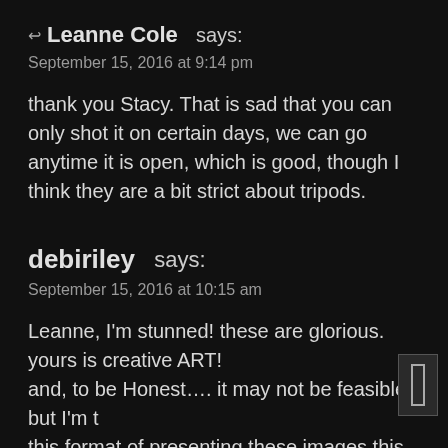↩ Leanne Cole says:
September 15, 2016 at 9:14 pm
thank you Stacy. That is sad that you can only shot it on certain days, we can go anytime it is open, which is good, though I think they are a bit strict about tripods.
debiriley says:
September 15, 2016 at 10:15 am
Leanne, I'm stunned! these are glorious. yours is creative ART!
and, to be Honest…. it may not be feasible, but I'm [thinking about] this format of presenting these images this time. s[o] near, clear. large. all just Right There. This is a big WOW...